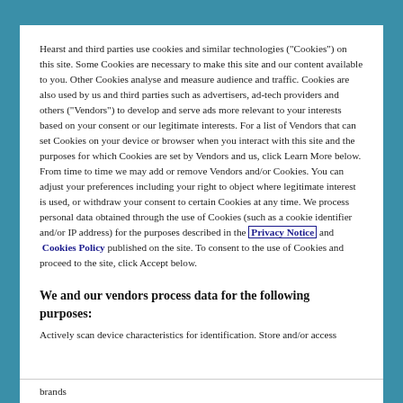Hearst and third parties use cookies and similar technologies ("Cookies") on this site. Some Cookies are necessary to make this site and our content available to you. Other Cookies analyse and measure audience and traffic. Cookies are also used by us and third parties such as advertisers, ad-tech providers and others ("Vendors") to develop and serve ads more relevant to your interests based on your consent or our legitimate interests. For a list of Vendors that can set Cookies on your device or browser when you interact with this site and the purposes for which Cookies are set by Vendors and us, click Learn More below. From time to time we may add or remove Vendors and/or Cookies. You can adjust your preferences including your right to object where legitimate interest is used, or withdraw your consent to certain Cookies at any time. We process personal data obtained through the use of Cookies (such as a cookie identifier and/or IP address) for the purposes described in the Privacy Notice and Cookies Policy published on the site. To consent to the use of Cookies and proceed to the site, click Accept below.
We and our vendors process data for the following purposes:
Actively scan device characteristics for identification. Store and/or access
brands